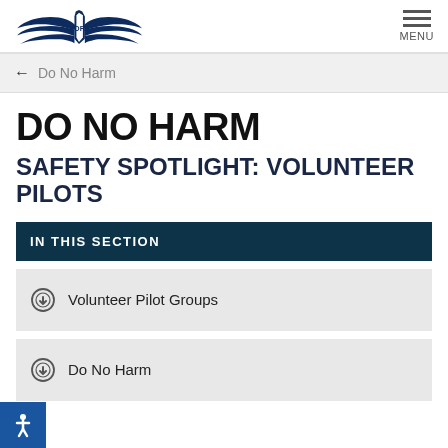AOPA logo and MENU
← Do No Harm
DO NO HARM
SAFETY SPOTLIGHT: VOLUNTEER PILOTS
IN THIS SECTION
Volunteer Pilot Groups
Do No Harm